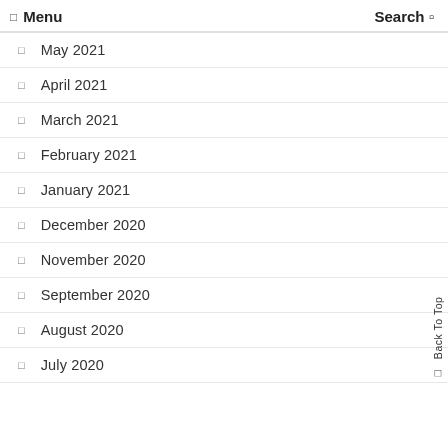Menu  Search
May 2021
April 2021
March 2021
February 2021
January 2021
December 2020
November 2020
September 2020
August 2020
July 2020